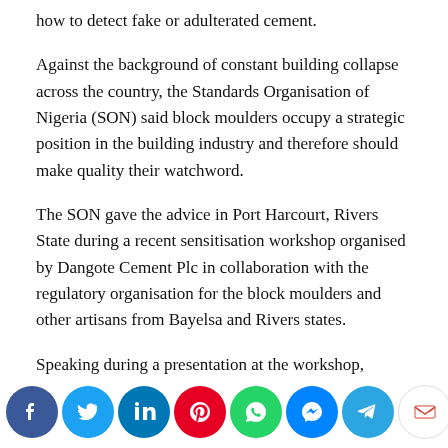how to detect fake or adulterated cement.
Against the background of constant building collapse across the country, the Standards Organisation of Nigeria (SON) said block moulders occupy a strategic position in the building industry and therefore should make quality their watchword.
The SON gave the advice in Port Harcourt, Rivers State during a recent sensitisation workshop organised by Dangote Cement Plc in collaboration with the regulatory organisation for the block moulders and other artisans from Bayelsa and Rivers states.
Speaking during a presentation at the workshop, SON's Asst. State Director, Engr. Lillian Gua emphasised the need for one and one discipline in the quality of blocks and so you would be able to
[Figure (infographic): Social media sharing icon bar at the bottom of the page, showing Facebook, Twitter, LinkedIn, Pinterest, WhatsApp, Messenger, Telegram, Gmail, and a copy-link button]